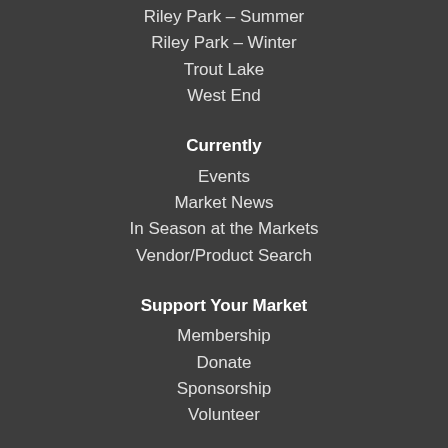Riley Park – Summer
Riley Park – Winter
Trout Lake
West End
Currently
Events
Market News
In Season at the Markets
Vendor/Product Search
Support Your Market
Membership
Donate
Sponsorship
Volunteer
About Us
About Us
FAQs